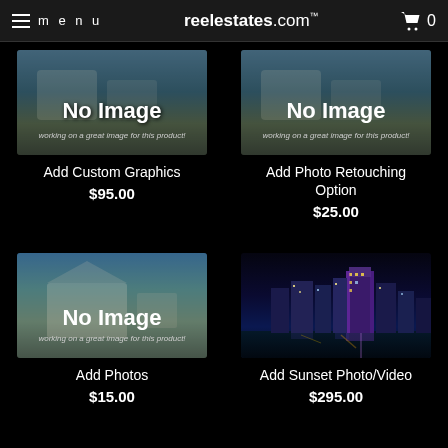menu  reelestates.com  0
[Figure (screenshot): No Image placeholder with blurred property background and caption 'working on a great image for this product!']
Add Custom Graphics
$95.00
[Figure (screenshot): No Image placeholder with blurred property background and caption 'working on a great image for this product!']
Add Photo Retouching Option
$25.00
[Figure (screenshot): No Image placeholder with blurred property background and caption 'working on a great image for this product!']
Add Photos
$15.00
[Figure (photo): Night cityscape with illuminated skyscrapers reflected in water, purple and blue tones]
Add Sunset Photo/Video
$295.00